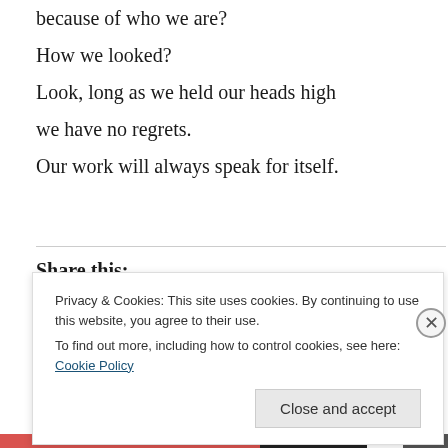because of who we are?
How we looked?
Look, long as we held our heads high we have no regrets.
Our work will always speak for itself.
Share this:
Privacy & Cookies: This site uses cookies. By continuing to use this website, you agree to their use.
To find out more, including how to control cookies, see here: Cookie Policy